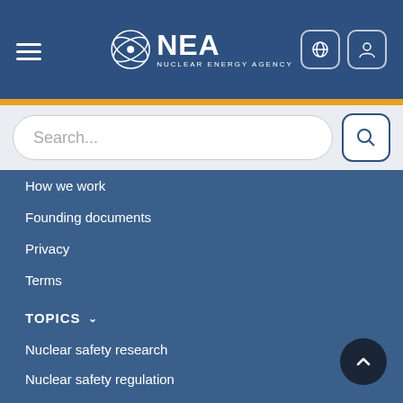[Figure (logo): NEA Nuclear Energy Agency logo with navigation header, hamburger menu, globe and user icons]
Search...
How we work
Founding documents
Privacy
Terms
TOPICS
Nuclear safety research
Nuclear safety regulation
Human aspects of nuclear safety
Radiological protection
Radioactive waste management
Decommissioning and legacy management